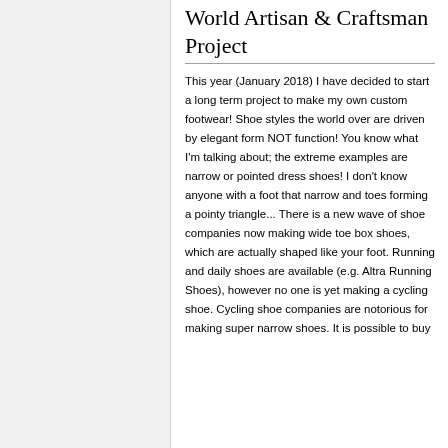World Artisan & Craftsman Project
This year (January 2018) I have decided to start a long term project to make my own custom footwear! Shoe styles the world over are driven by elegant form NOT function! You know what I'm talking about; the extreme examples are narrow or pointed dress shoes! I don't know anyone with a foot that narrow and toes forming a pointy triangle... There is a new wave of shoe companies now making wide toe box shoes, which are actually shaped like your foot. Running and daily shoes are available (e.g. Altra Running Shoes), however no one is yet making a cycling shoe. Cycling shoe companies are notorious for making super narrow shoes. It is possible to buy